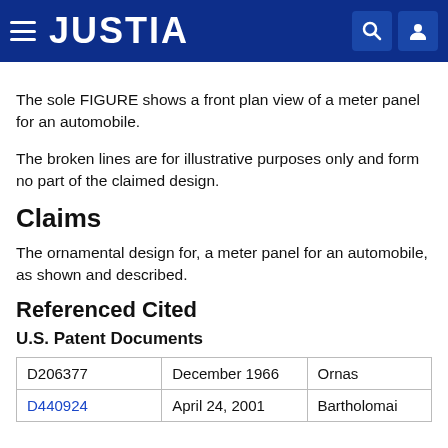JUSTIA
The sole FIGURE shows a front plan view of a meter panel for an automobile.
The broken lines are for illustrative purposes only and form no part of the claimed design.
Claims
The ornamental design for, a meter panel for an automobile, as shown and described.
Referenced Cited
U.S. Patent Documents
| D206377 | December 1966 | Ornas |
| D440924 | April 24, 2001 | Bartholomai |